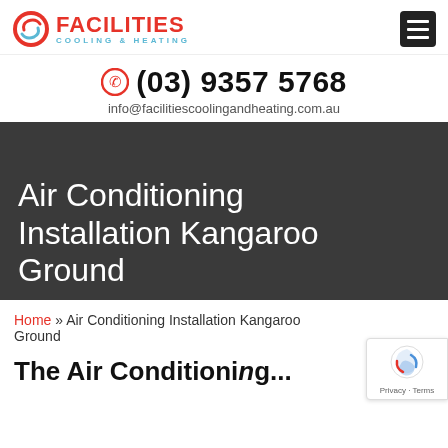[Figure (logo): Facilities Cooling & Heating logo with red and blue swirl icon, red FACILITIES text, blue COOLING & HEATING subtext]
(03) 9357 5768
info@facilitiescoolingandheating.com.au
Air Conditioning Installation Kangaroo Ground
Home » Air Conditioning Installation Kangaroo Ground
The Air Conditioning...